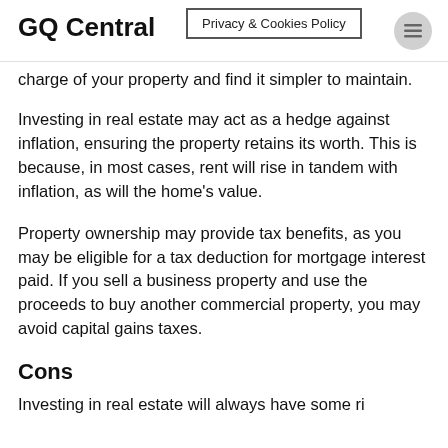GQ Central | Privacy & Cookies Policy
charge of your property and find it simpler to maintain.
Investing in real estate may act as a hedge against inflation, ensuring the property retains its worth. This is because, in most cases, rent will rise in tandem with inflation, as will the home’s value.
Property ownership may provide tax benefits, as you may be eligible for a tax deduction for mortgage interest paid. If you sell a business property and use the proceeds to buy another commercial property, you may avoid capital gains taxes.
Cons
Investing in real estate will always have some risk...